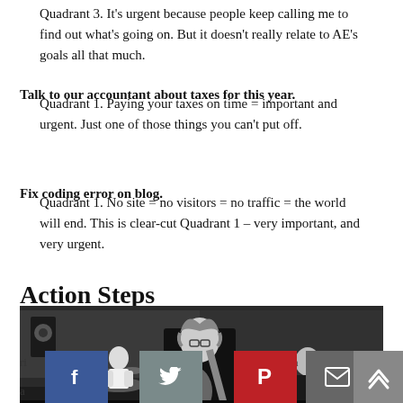Quadrant 3. It's urgent because people keep calling me to find out what's going on. But it doesn't really relate to AE's goals all that much.
Talk to our accountant about taxes for this year.
Quadrant 1. Paying your taxes on time = important and urgent. Just one of those things you can't put off.
Fix coding error on blog.
Quadrant 1. No site = no visitors = no traffic = the world will end. This is clear-cut Quadrant 1 – very important, and very urgent.
Action Steps
[Figure (photo): Black and white photo of a band rehearsing in a studio. A guitarist stands in the center foreground, a drummer is visible on the left background, and another musician sits on the right with a guitar.]
...to do.
[Figure (infographic): Social sharing buttons: Facebook (blue), Twitter (grey), Pinterest (red), Email (grey), LinkedIn (blue), and a back-to-top button (grey) on the right.]